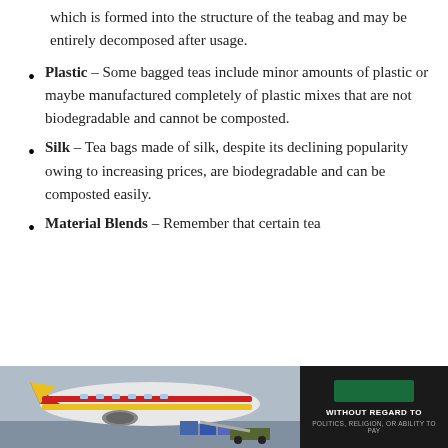which is formed into the structure of the teabag and may be entirely decomposed after usage.
Plastic – Some bagged teas include minor amounts of plastic or maybe manufactured completely of plastic mixes that are not biodegradable and cannot be composted.
Silk – Tea bags made of silk, despite its declining popularity owing to increasing prices, are biodegradable and can be composted easily.
Material Blends – Remember that certain tea
[Figure (photo): Advertisement banner showing an airplane being loaded with cargo, with text 'WITHOUT REGARD TO POLITICS, RELIGION, OR ABILITY TO PAY']